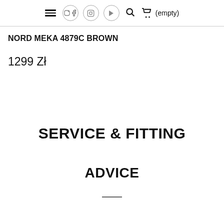≡ (facebook) (instagram) (youtube) 🔍 🛒 (empty)
NORD MEKA 4879C BROWN
1299 Zł
SERVICE & FITTING
ADVICE